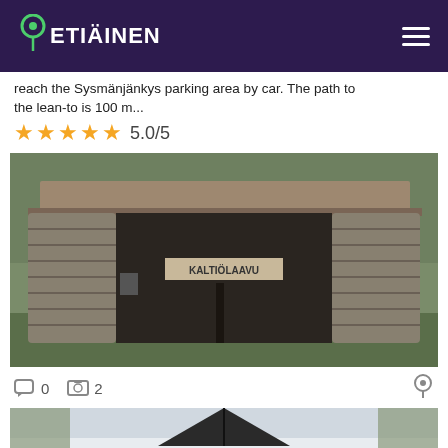ETIAINEN
reach the Sysmänjänkys parking area by car. The path to the lean-to is 100 m...
5.0/5
[Figure (photo): A log lean-to shelter (laavu) called KALTIÖLAAVU in a forest setting, with round log walls and a wooden roof overhang.]
0  2
[Figure (photo): A triangular roof of a shelter or small cabin in a snowy forest.]